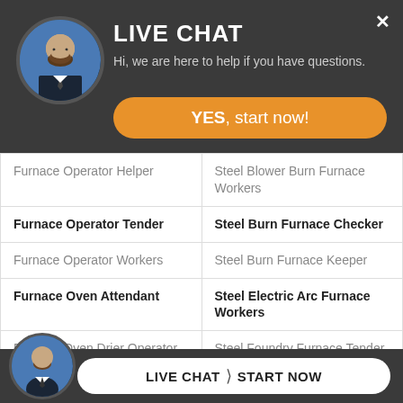[Figure (screenshot): Live chat overlay popup with avatar photo of a man in suit, title 'LIVE CHAT', subtitle 'Hi, we are here to help if you have questions.', orange 'YES, start now!' button, and close X button]
| Furnace Operator Helper | Steel Blower Burn Furnace Workers |
| Furnace Operator Tender | Steel Burn Furnace Checker |
| Furnace Operator Workers | Steel Burn Furnace Keeper |
| Furnace Oven Attendant | Steel Electric Arc Furnace Workers |
| Furnace Oven Drier Operator | Steel Foundry Furnace Tender |
| Fur... en... |  |
[Figure (screenshot): Bottom live chat bar with avatar and 'LIVE CHAT > START NOW' button]